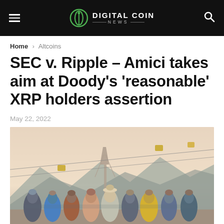DIGITAL COIN NEWS
Home › Altcoins
SEC v. Ripple – Amici takes aim at Doody's 'reasonable' XRP holders assertion
May 22, 2022
[Figure (photo): Group of people seen from behind with arms around each other, standing and looking at a mountain landscape with cable cars and a tower in the background at sunset.]